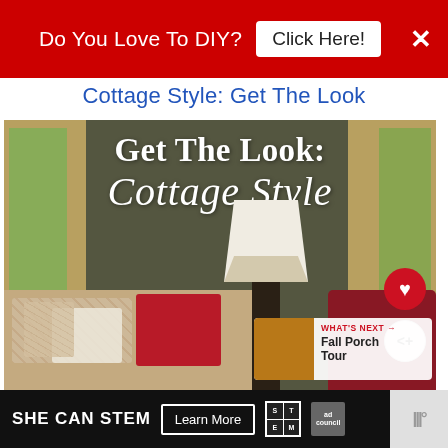Do You Love To DIY?  Click Here!  ×
Cottage Style: Get The Look
[Figure (photo): Interior cottage-style living room with text overlay reading 'Get The Look: Cottage Style', showing windows, a floral sofa, decorative lamp, and red armchair. Includes heart/share buttons and a 'What's Next → Fall Porch Tour' thumbnail overlay.]
[Figure (photo): Bottom advertisement banner: SHE CAN STEM — Learn More, with STEM and Ad Council logos]